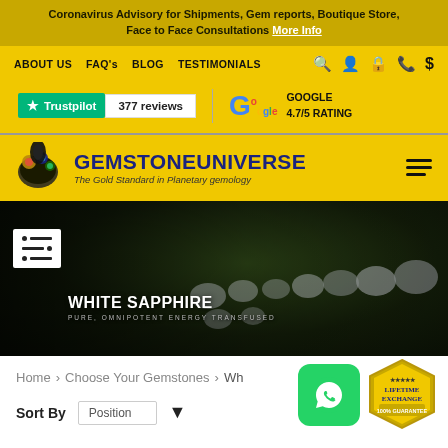Coronavirus Advisory for Shipments, Gem reports, Boutique Store, Face to Face Consultations More Info
ABOUT US  FAQ's  BLOG  TESTIMONIALS
[Figure (logo): Trustpilot badge showing 377 reviews and Google 4.7/5 rating badge]
[Figure (logo): Gemstoneuniverse logo with tagline: The Gold Standard in Planetary gemology]
[Figure (photo): Hero banner showing White Sapphire gemstones with text WHITE SAPPHIRE - PURE, OMNIPOTENT ENERGY TRANSFUSED]
Home > Choose Your Gemstones > White Sapphire
Sort By  Position